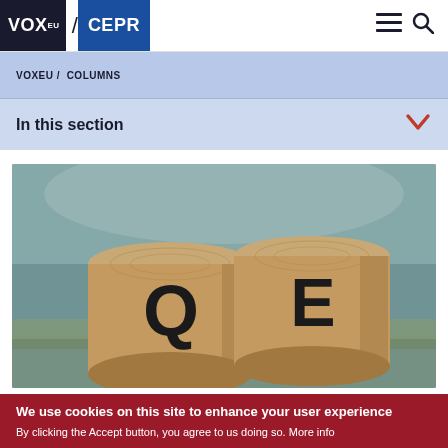VOX EU / CEPR
VOXEU / COLUMNS
In this section
[Figure (photo): Two wooden circular blocks with letters Q and E stamped on them, resting on paper currency (dollar bills), representing Quantitative Easing (QE).]
We use cookies on this site to enhance your user experience
By clicking the Accept button, you agree to us doing so.  More info